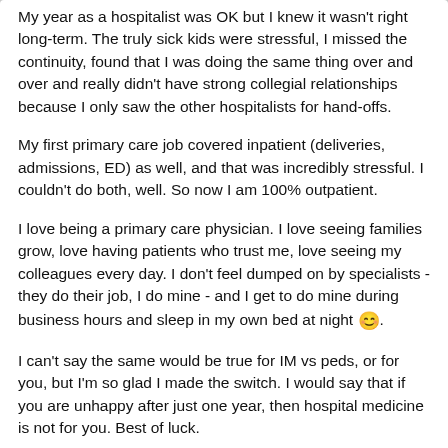My year as a hospitalist was OK but I knew it wasn't right long-term.  The truly sick kids were stressful, I missed the continuity, found that I was doing the same thing over and over and really didn't have strong collegial relationships because I only saw the other hospitalists for hand-offs.

My first primary care job covered inpatient (deliveries, admissions, ED) as well, and that was incredibly stressful.  I couldn't do both, well.  So now I am 100% outpatient.

I love being a primary care physician.  I love seeing families grow, love having patients who trust me, love seeing my colleagues every day.  I don't feel dumped on by specialists - they do their job, I do mine - and I get to do mine during business hours and sleep in my own bed at night 🙂.

I can't say the same would be true for IM vs peds, or for you, but I'm so glad I made the switch.  I would say that if you are unhappy after just one year, then hospital medicine is not for you.  Best of luck.
mjohnson
Member